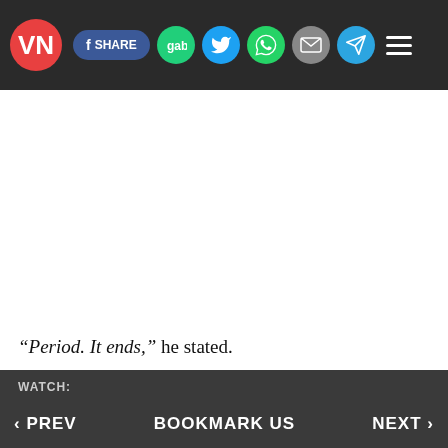VN logo | SHARE | gab | twitter | whatsapp | mail | telegram | menu
“Period. It ends,” he stated.
‹ PREV   BOOKMARK US   NEXT ›